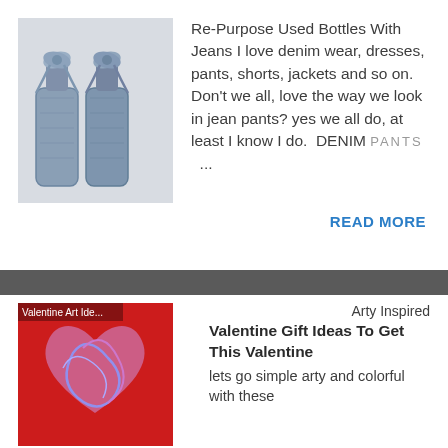[Figure (photo): Two bottles wrapped in denim jean fabric tied with bows, placed side by side on a light background]
Re-Purpose Used Bottles With Jeans I love denim wear, dresses, pants, shorts, jackets and so on. Don't we all, love the way we look in jean pants? yes we all do, at least I know I do.  DENIM PANTS …
READ MORE
[Figure (photo): Valentine art image on red background with heart shapes and swirling designs in blue and purple. Text overlay reads 'Valentine Art Ide...']
Arty Inspired
Valentine Gift Ideas To Get This Valentine
lets go simple arty and colorful with these